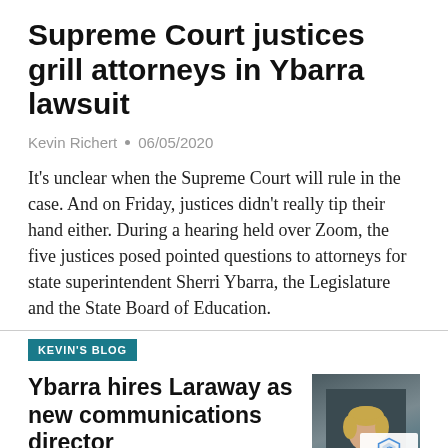Supreme Court justices grill attorneys in Ybarra lawsuit
Kevin Richert • 06/05/2020
It's unclear when the Supreme Court will rule in the case. And on Friday, justices didn't really tip their hand either. During a hearing held over Zoom, the five justices posed pointed questions to attorneys for state superintendent Sherri Ybarra, the Legislature and the State Board of Education.
KEVIN'S BLOG
Ybarra hires Laraway as new communications director
Kevin Richert • 06/02/2020
[Figure (photo): Portrait photo of a woman with short blonde hair wearing a light blue top, against a dark background]